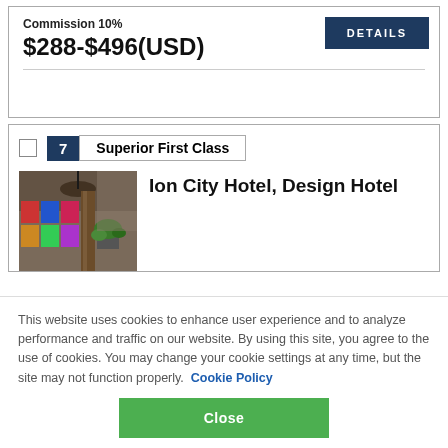Commission 10%
$288-$496(USD)
DETAILS
7  Superior First Class
[Figure (photo): Interior photo of Ion City Hotel showing decorative ceiling lamp and plants]
Ion City Hotel, Design Hotel
This website uses cookies to enhance user experience and to analyze performance and traffic on our website. By using this site, you agree to the use of cookies. You may change your cookie settings at any time, but the site may not function properly.  Cookie Policy
Close